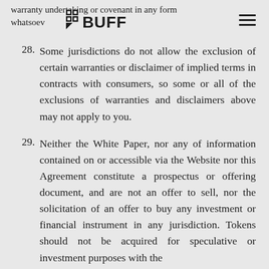warranty undertaking or covenant in any form whatsoever to any entity or pers
28. Some jurisdictions do not allow the exclusion of certain warranties or disclaimer of implied terms in contracts with consumers, so some or all of the exclusions of warranties and disclaimers above may not apply to you.
29. Neither the White Paper, nor any of information contained on or accessible via the Website nor this Agreement constitute a prospectus or offering document, and are not an offer to sell, nor the solicitation of an offer to buy any investment or financial instrument in any jurisdiction. Tokens should not be acquired for speculative or investment purposes with the